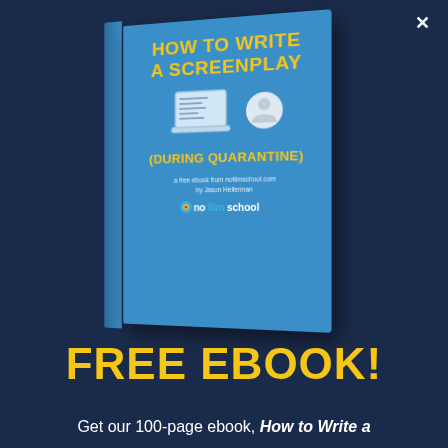[Figure (illustration): Book cover for 'How to Write a Screenplay (During Quarantine)' - a free ebook from nofilmschool.com by Jason Hellerman, shown as a 3D perspective book with blue cover, yellow title text, laptop and home icon illustration]
FREE EBOOK!
Get our 100-page ebook, How to Write a